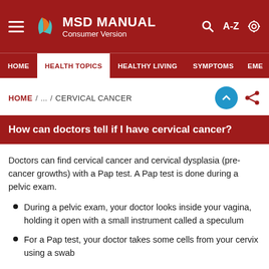MSD MANUAL Consumer Version
HOME / HEALTH TOPICS / HEALTHY LIVING / SYMPTOMS / EME
HOME / ... / CERVICAL CANCER
How can doctors tell if I have cervical cancer?
Doctors can find cervical cancer and cervical dysplasia (pre-cancer growths) with a Pap test. A Pap test is done during a pelvic exam.
During a pelvic exam, your doctor looks inside your vagina, holding it open with a small instrument called a speculum
For a Pap test, your doctor takes some cells from your cervix using a swab